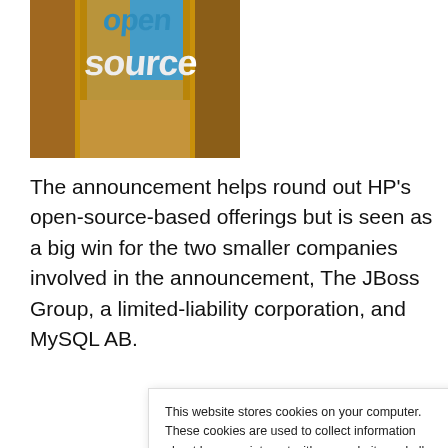[Figure (photo): Open source themed image with text 'open source' overlaid on a desert/door background]
The announcement helps round out HP’s open-source-based offerings but is seen as a big win for the two smaller companies involved in the announcement, The JBoss Group, a limited-liability corporation, and MySQL AB.
This website stores cookies on your computer. These cookies are used to collect information about how you interact with our website and allow us to remember you. We use this information in order to improve and customize your browsing experience and for analytics and metrics about our visitors both on this website and other media. To find out more about the cookies we use, see our Privacy Policy. California residents have the right to direct us not to sell their personal information to third parties by filing an Opt-Out Request: Do Not Sell My Personal Info.
Accept